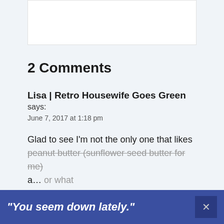2 Comments
Lisa | Retro Housewife Goes Green says:
June 7, 2017 at 1:18 pm
Glad to see I’m not the only one that likes peanut butter (sunflower seed butter for me) a… or what
[Figure (other): Advertisement banner: 'You seem down lately.' with a close button]